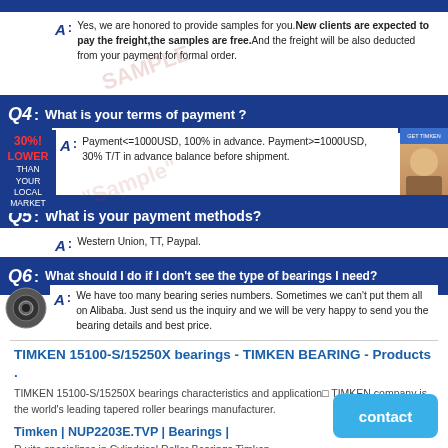A: Yes, we are honored to provide samples for you.New clients are expected to pay the freight,the samples are free.And the freight will be also deducted from your payment for formal order.
Q4: What is your terms of payment ?
A: Payment<=1000USD, 100% in advance. Payment>=1000USD, 30% T/T in advance balance before shipment.
Q5: What is your payment methods?
A: Western Union, TT, Paypal.
Q6: What should I do if I don't see the type of bearings I need?
A: We have too many bearing series numbers. Sometimes we can't put them all on Alibaba. Just send us the inquiry and we will be very happy to send you the bearing details and best price.
TIMKEN 15100-S/15250X bearings - TIMKEN BEARING - Products .
TIMKEN 15100-S/15250X bearings characteristics and application: TIMKEN company is the world's leading tapered roller bearings manufacturer.
Timken | NUP2203E.TVP | Bearings |
R uite specializes in Cylindrical Roller Bearings Timken NUP2203E.TVP axial load capacity of Timken NUP2203E.TVP bearings is limited by their